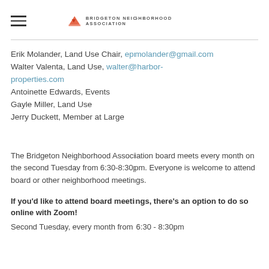BRIDGETON NEIGHBORHOOD ASSOCIATION
Erik Molander, Land Use Chair, epmolander@gmail.com
Walter Valenta, Land Use, walter@harbor-properties.com
Antoinette Edwards, Events
Gayle Miller, Land Use
Jerry Duckett, Member at Large
The Bridgeton Neighborhood Association board meets every month on the second Tuesday from 6:30-8:30pm. Everyone is welcome to attend board or other neighborhood meetings.
If you'd like to attend board meetings, there's an option to do so online with Zoom!
Second Tuesday, every month from 6:30 - 8:30pm